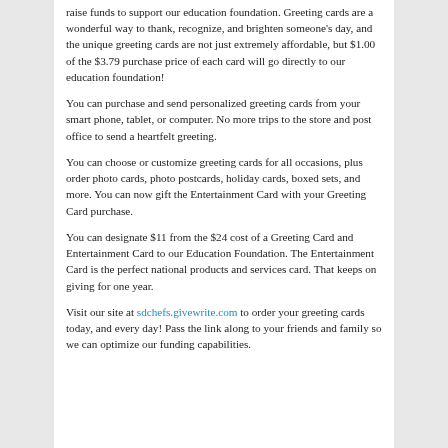raise funds to support our education foundation. Greeting cards are a wonderful way to thank, recognize, and brighten someone's day, and the unique greeting cards are not just extremely affordable, but $1.00 of the $3.79 purchase price of each card will go directly to our education foundation!
You can purchase and send personalized greeting cards from your smart phone, tablet, or computer. No more trips to the store and post office to send a heartfelt greeting.
You can choose or customize greeting cards for all occasions, plus order photo cards, photo postcards, holiday cards, boxed sets, and more. You can now gift the Entertainment Card with your Greeting Card purchase.
You can designate $11 from the $24 cost of a Greeting Card and Entertainment Card to our Education Foundation. The Entertainment Card is the perfect national products and services card. That keeps on giving for one year.
Visit our site at sdchefs.givewrite.com to order your greeting cards today, and every day! Pass the link along to your friends and family so we can optimize our funding capabilities.